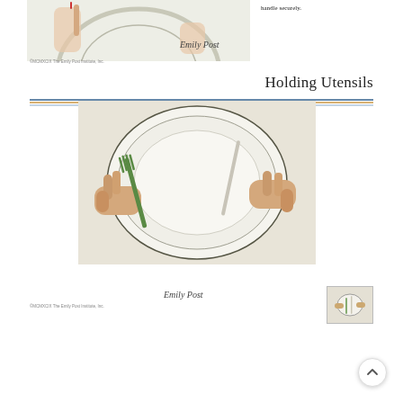[Figure (photo): Top portion of a photo showing hands holding a utensil over a white plate, partially visible at top of page]
handle securely.
Holding Utensils
[Figure (photo): Overhead view of two hands holding utensils (fork in left hand, knife in right hand) over a white dinner plate on a light tablecloth]
[Figure (photo): Small thumbnail image showing hands with utensils]
©MCMXCIX The Emily Post Institute, Inc.